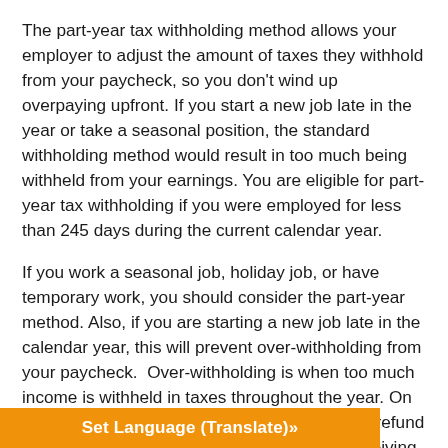The part-year tax withholding method allows your employer to adjust the amount of taxes they withhold from your paycheck, so you don't wind up overpaying upfront. If you start a new job late in the year or take a seasonal position, the standard withholding method would result in too much being withheld from your earnings. You are eligible for part-year tax withholding if you were employed for less than 245 days during the current calendar year.
If you work a seasonal job, holiday job, or have temporary work, you should consider the part-year method. Also, if you are starting a new job late in the calendar year, this will prevent over-withholding from your paycheck.  Over-withholding is when too much income is withheld in taxes throughout the year. On the one hand, it does typically result in a large refund on your tax return. While some people like receiving a significant refund, others would rather see the “extra” money in their paycheck from month to month. With costs rising, it is a good idea to have access to available wages in real time, ra[truncated by translate bar]ur